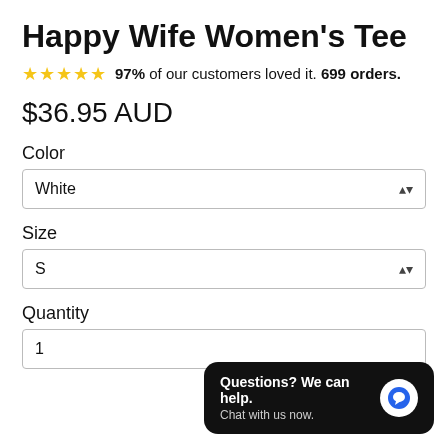Happy Wife Women's Tee
97% of our customers loved it. 699 orders.
$36.95 AUD
Color
White
Size
S
Quantity
1
Questions? We can help. Chat with us now.